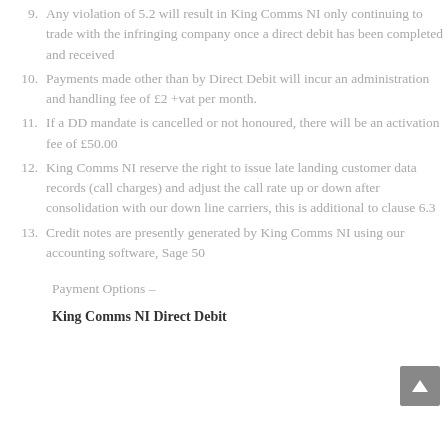9. Any violation of 5.2 will result in King Comms NI only continuing to trade with the infringing company once a direct debit has been completed and received
10. Payments made other than by Direct Debit will incur an administration and handling fee of £2 +vat per month.
11. If a DD mandate is cancelled or not honoured, there will be an activation fee of £50.00
12. King Comms NI reserve the right to issue late landing customer data records (call charges) and adjust the call rate up or down after consolidation with our down line carriers, this is additional to clause 6.3
13. Credit notes are presently generated by King Comms NI using our accounting software, Sage 50
Payment Options –
King Comms NI Direct Debit